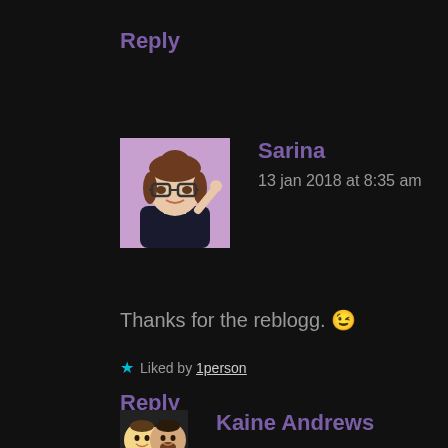Reply
[Figure (illustration): Avatar image of Sarina - animated bitmoji style character with glasses and hair bun on purple background]
Sarina
13 jan 2018 at 8:35 am
Thanks for the reblogg. 😉
★ Liked by 1person
Reply
[Figure (photo): Avatar image of Kaine Andrews - two people emoji style]
Kaine Andrews